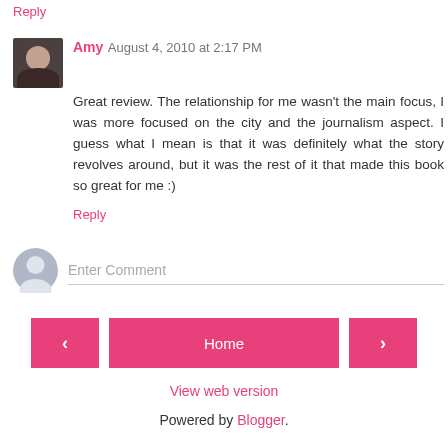Reply
Amy  August 4, 2010 at 2:17 PM
Great review. The relationship for me wasn't the main focus, I was more focused on the city and the journalism aspect. I guess what I mean is that it was definitely what the story revolves around, but it was the rest of it that made this book so great for me :)
Reply
Enter Comment
< Home >
View web version
Powered by Blogger.